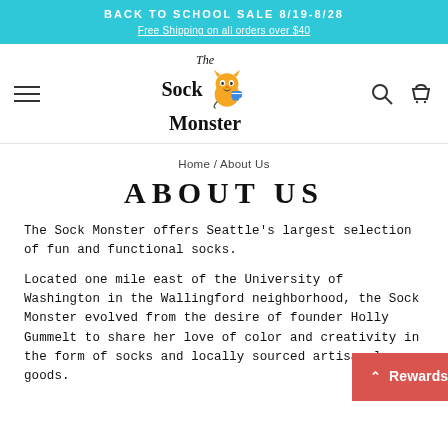BACK TO SCHOOL SALE 8/19-8/28
Free Shipping on all orders over $40
[Figure (logo): The Sock Monster logo with a cartoon monster character holding a sock, alongside hamburger menu, search, and cart icons in the navigation bar]
Home / About Us
ABOUT US
The Sock Monster offers Seattle's largest selection of fun and functional socks.
Located one mile east of the University of Washington in the Wallingford neighborhood, the Sock Monster evolved from the desire of founder Holly Gummelt to share her love of color and creativity in the form of socks and locally sourced artisanal goods.